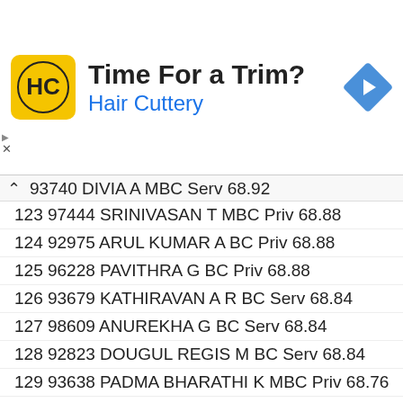[Figure (other): Hair Cuttery advertisement banner with logo, text 'Time For a Trim?' and 'Hair Cuttery', and a blue navigation arrow icon]
93740 DIVIA A MBC Serv 68.92
123 97444 SRINIVASAN T MBC Priv 68.88
124 92975 ARUL KUMAR A BC Priv 68.88
125 96228 PAVITHRA G BC Priv 68.88
126 93679 KATHIRAVAN A R BC Serv 68.84
127 98609 ANUREKHA G BC Serv 68.84
128 92823 DOUGUL REGIS M BC Serv 68.84
129 93638 PADMA BHARATHI K MBC Priv 68.76
130 98375 YOGANANDHINI C MBC Priv 68.72
131 97563 ARUN PRASATH N BC Priv 68.68
132 94104 KOKILA S MBC Serv 68.68
133 95165 SENTHIL A MBC Serv 68.68
134 93941 THIRUNAVUKARASU P BC Serv 68.68
135 96761 PRABHU T M MBC Serv 68.68